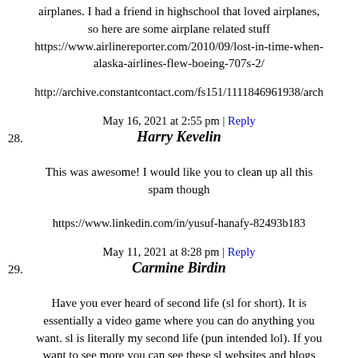airplanes. I had a friend in highschool that loved airplanes, so here are some airplane related stuff https://www.airlinereporter.com/2010/09/lost-in-time-when-alaska-airlines-flew-boeing-707s-2/
http://archive.constantcontact.com/fs151/1111846961938/arch
May 16, 2021 at 2:55 pm | Reply
28. Harry Kevelin
This was awesome! I would like you to clean up all this spam though
https://www.linkedin.com/in/yusuf-hanafy-82493b183
May 11, 2021 at 8:28 pm | Reply
29. Carmine Birdin
Have you ever heard of second life (sl for short). It is essentially a video game where you can do anything you want. sl is literally my second life (pun intended lol). If you want to see more you can see these sl websites and blogs
http://everydayliteracies.blogspot.com/2017/04/spanish-language-edition-of-of-new.html?showComment=1509614837979